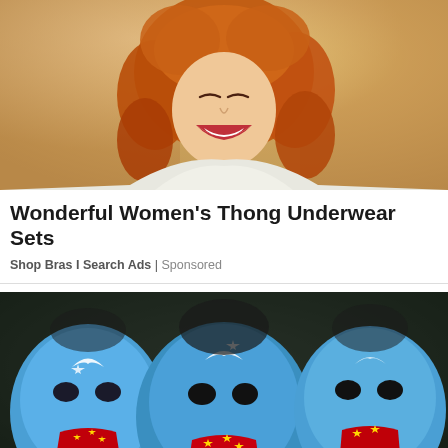[Figure (photo): Photo of a smiling woman with curly red/auburn hair, eyes closed, laughing joyfully against a warm golden background wearing a white top.]
Wonderful Women's Thong Underwear Sets
Shop Bras I Search Ads | Sponsored
[Figure (photo): Photo of three people wearing blue face masks decorated with the East Turkestan flag (blue with white crescent and star), with red Chinese flag tongues sticking out, used in protest imagery.]